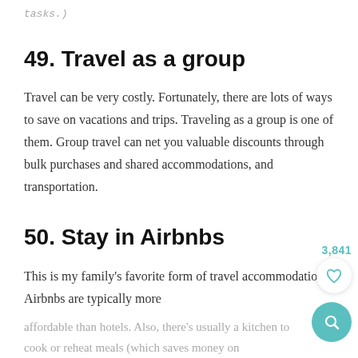tasks.)
49. Travel as a group
Travel can be very costly. Fortunately, there are lots of ways to save on vacations and trips. Traveling as a group is one of them. Group travel can net you valuable discounts through bulk purchases and shared accommodations, and transportation.
3,841
50. Stay in Airbnbs
This is my family's favorite form of travel accommodation! Airbnbs are typically more affordable than hotels. Also, there's usually a kitchen to cook or reheat meals (which saves money on